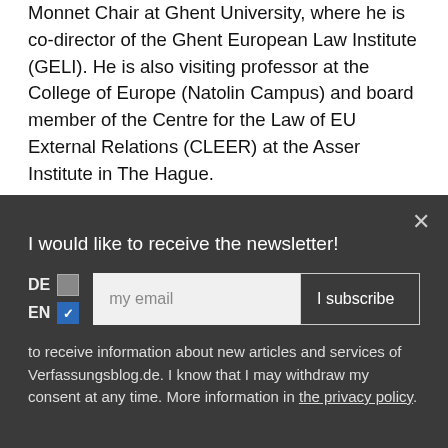Peter Van Elsuwege is professor of EU law and Jean Monnet Chair at Ghent University, where he is co-director of the Ghent European Law Institute (GELI). He is also visiting professor at the College of Europe (Natolin Campus) and board member of the Centre for the Law of EU External Relations (CLEER) at the Asser Institute in The Hague.
I would like to receive the newsletter!
to receive information about new articles and services of Verfassungsblog.de. I know that I may withdraw my consent at any time. More information in the privacy policy.